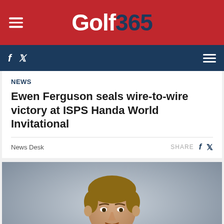Golf365
NEWS
Ewen Ferguson seals wire-to-wire victory at ISPS Handa World Invitational
News Desk
[Figure (photo): Close-up photo of a male golfer wearing a blue jacket, looking focused, with a grey blurred background.]